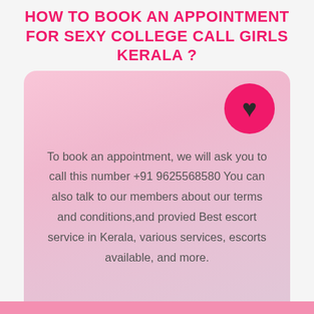HOW TO BOOK AN APPOINTMENT FOR SEXY COLLEGE CALL GIRLS KERALA ?
To book an appointment, we will ask you to call this number +91 9625568580 You can also talk to our members about our terms and conditions,and provied Best escort service in Kerala, various services, escorts available, and more.
[Figure (illustration): Pink rounded rectangle card with a magenta circle containing a dark heart icon in the top right corner, and a WhatsApp button at the bottom right]
[Figure (illustration): Bottom pink bar at the bottom of the page]